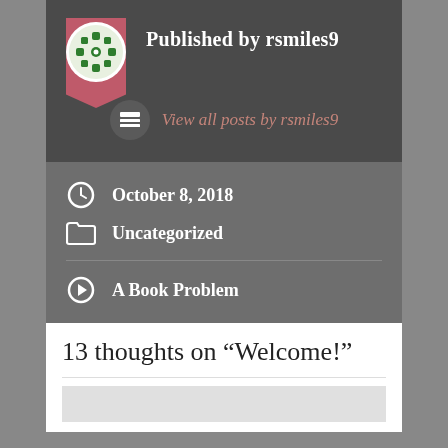Published by rsmiles9
View all posts by rsmiles9
October 8, 2018
Uncategorized
A Book Problem
13 thoughts on “Welcome!”